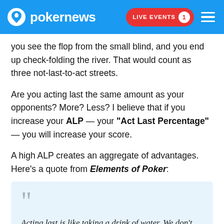pokernews — LIVE EVENTS 1
you see the flop from the small blind, and you end up check-folding the river. That would count as three not-last-to-act streets.
Are you acting last the same amount as your opponents? More? Less? I believe that if you increase your ALP — your "Act Last Percentage" — you will increase your score.
A high ALP creates an aggregate of advantages. Here's a quote from Elements of Poker:
Acting last is like taking a drink of water. We don't have to understand why it's good for us to know that it is. And the benefits are unaffected by our understanding of them.